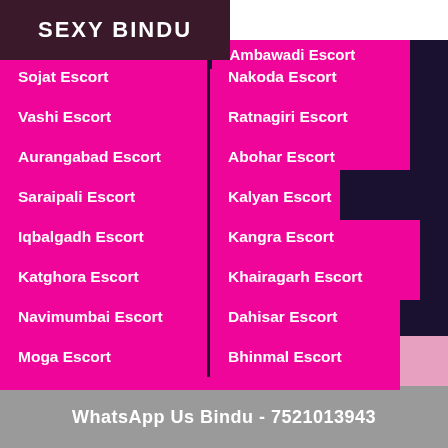SEXY BINDU
Ambawadi Escort
Sojat Escort
Nakoda Escort
Vashi Escort
Ratnagiri Escort
Aurangabad Escort
Abohar Escort
Saraipali Escort
Kalyan Escort
Iqbalgadh Escort
Kangra Escort
Katghora Escort
Khairagarh Escort
Navimumbai Escort
Dahisar Escort
Moga Escort
Bhinmal Escort
Call Bindu Now - 7521013943
WhatsApp Us Bindu - 7521013943